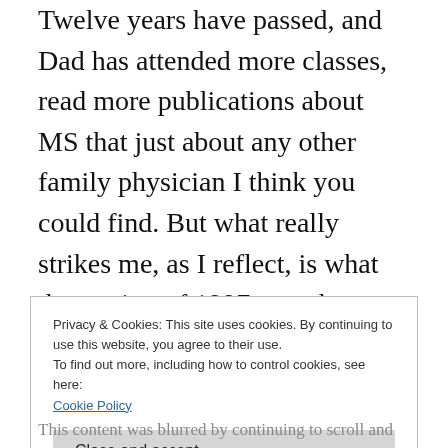Twelve years have passed, and Dad has attended more classes, read more publications about MS that just about any other family physician I think you could find. But what really strikes me, as I reflect, is what that spring of 1997 must have felt like to him. For me, I was frightened and searching, but for him, he had to watch as his baby girl, his only daughter, was diagnosed with a chronic illness… and there was nothing he could do about it. As I type this, I'm tearing up a bit… Dad doesn't display his
Privacy & Cookies: This site uses cookies. By continuing to use this website, you agree to their use.
To find out more, including how to control cookies, see here:
Cookie Policy
Close and accept
This content was blurred by continuing to scroll and